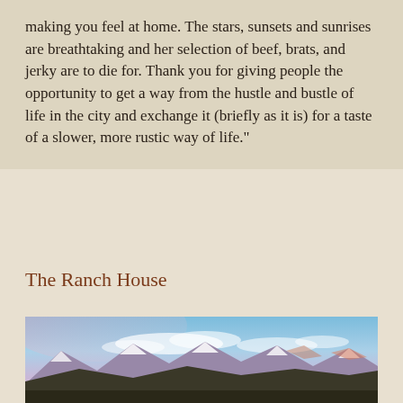making you feel at home. The stars, sunsets and sunrises are breathtaking and her selection of beef, brats, and jerky are to die for. Thank you for giving people the opportunity to get a way from the hustle and bustle of life in the city and exchange it (briefly as it is) for a taste of a slower, more rustic way of life."
The Ranch House
[Figure (photo): Mountain landscape at dusk or dawn with snow-capped peaks, purple and pink sky with clouds, dark forested foothills in foreground]